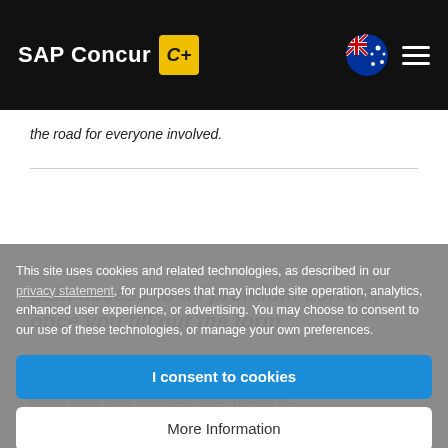SAP Concur [logo]
the road for everyone involved.
This site uses cookies and related technologies, as described in our privacy statement, for purposes that may include site operation, analytics, enhanced user experience, or advertising. You may choose to consent to our use of these technologies, or manage your own preferences.
I consent to cookies
More Information
| Privacy Policy | travel and expense challenges businesses face today.